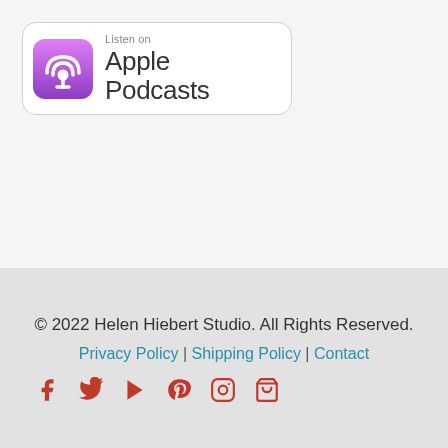[Figure (logo): Listen on Apple Podcasts badge with purple podcast icon and text]
© 2022 Helen Hiebert Studio. All Rights Reserved.
Privacy Policy | Shipping Policy | Contact